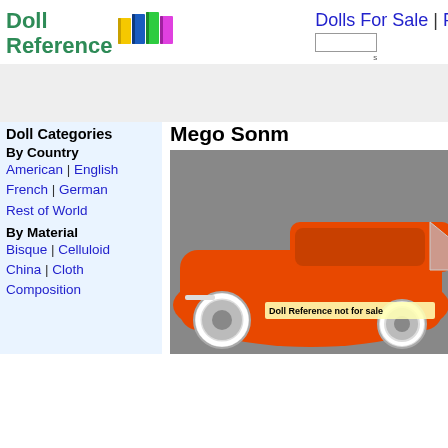[Figure (logo): Doll Reference logo with colorful books icon and green bold text reading Doll Reference]
Dolls For Sale | F
Doll Categories
By Country
American | English
French | German
Rest of World
By Material
Bisque | Celluloid
China | Cloth
Composition
Mego Sonm
[Figure (photo): Orange vintage toy car (convertible) with white wall tires, open top showing orange seats. A label reads Doll Reference not for sale.]